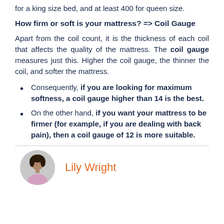for a king size bed, and at least 400 for queen size.
How firm or soft is your mattress? => Coil Gauge
Apart from the coil count, it is the thickness of each coil that affects the quality of the mattress. The coil gauge measures just this. Higher the coil gauge, the thinner the coil, and softer the mattress.
Consequently, if you are looking for maximum softness, a coil gauge higher than 14 is the best.
On the other hand, if you want your mattress to be firmer (for example, if you are dealing with back pain), then a coil gauge of 12 is more suitable.
[Figure (photo): Circular avatar photo of a woman]
Lily Wright